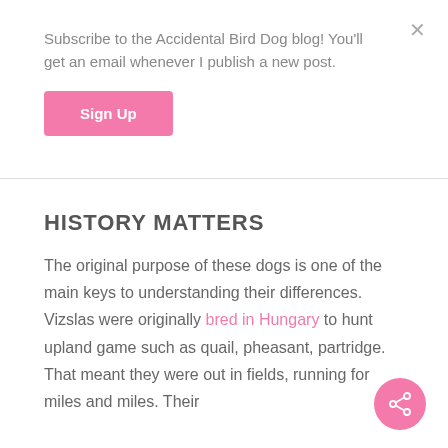Subscribe to the Accidental Bird Dog blog! You'll get an email whenever I publish a new post.
Sign Up
HISTORY MATTERS
The original purpose of these dogs is one of the main keys to understanding their differences. Vizslas were originally bred in Hungary to hunt upland game such as quail, pheasant, partridge. That meant they were out in fields, running for miles and miles. Their